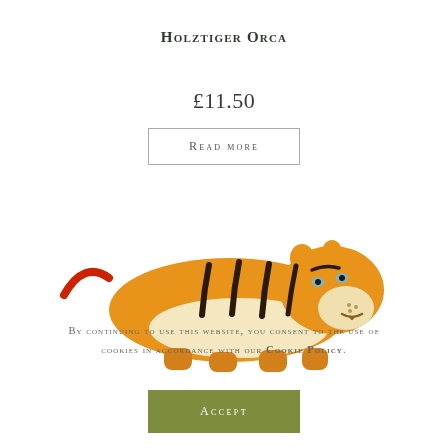Holztiger Orca
£11.50
Read more
[Figure (photo): A wooden painted tiger toy figurine in orange with black stripes, facing right, with a red tail visible on the left. The toy is a Holztiger brand wooden animal.]
By continuing to use this website, you consent to the use of cookies in accordance with our Cookie Policy.
Accept